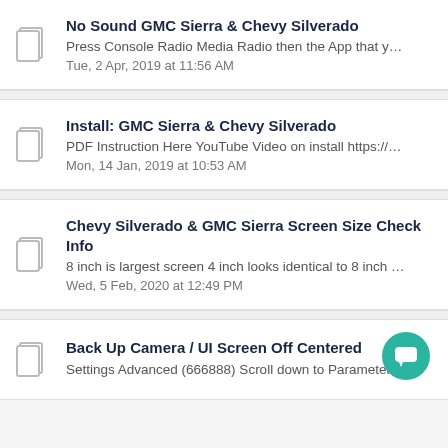No Sound GMC Sierra & Chevy Silverado
Press Console Radio Media Radio then the App that you wish to...
Tue, 2 Apr, 2019 at 11:56 AM
Install: GMC Sierra & Chevy Silverado
PDF Instruction Here YouTube Video on install https://www.yout...
Mon, 14 Jan, 2019 at 10:53 AM
Chevy Silverado & GMC Sierra Screen Size Check Info
8 inch is largest screen 4 inch looks identical to 8 inch just with s...
Wed, 5 Feb, 2020 at 12:49 PM
Back Up Camera / UI Screen Off Centered
Settings Advanced (666888) Scroll down to Parameter and Cycle ...